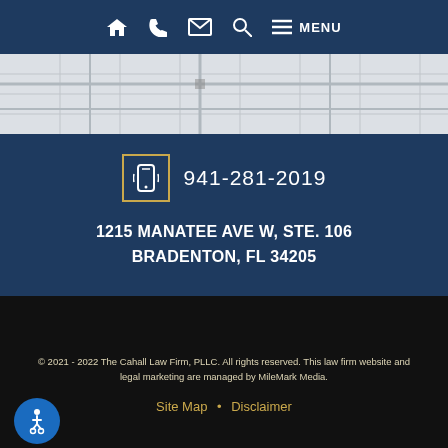Navigation bar with home, phone, email, search, and menu icons
[Figure (map): Street map background image showing road layout]
941-281-2019
1215 MANATEE AVE W, STE. 106 BRADENTON, FL 34205
© 2021 - 2022 The Cahall Law Firm, PLLC. All rights reserved. This law firm website and legal marketing are managed by MileMark Media.
Site Map • Disclaimer